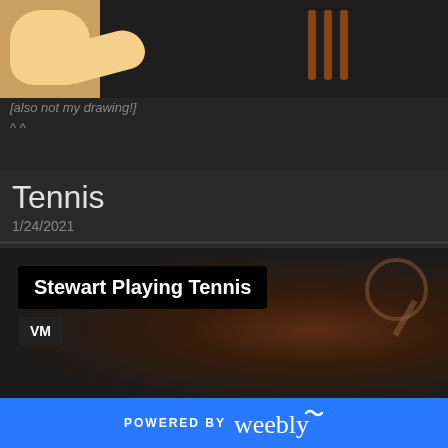[Figure (illustration): Cropped cartoon illustration showing a character's face and hand, with vertical orange/brown bars on the right side]
[also not my drawing!]
^ ^
Tennis
1/24/2021
[Figure (photo): Dark blurry image of a figure (Stewart) playing tennis, with a tennis racket visible in the upper right. Overlaid with card title 'Stewart Playing Tennis' and tag 'VM']
POWERED BY weebly